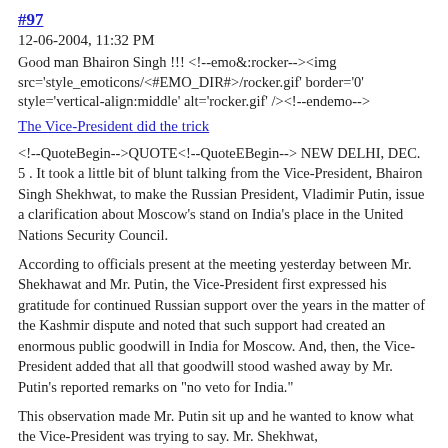#97
12-06-2004, 11:32 PM
Good man Bhairon Singh !!! <!--emo&:rocker--><img src='style_emoticons/<#EMO_DIR#>/rocker.gif' border='0' style='vertical-align:middle' alt='rocker.gif' /><!--endemo-->
The Vice-President did the trick
<!--QuoteBegin-->QUOTE<!--QuoteEBegin--> NEW DELHI, DEC. 5 . It took a little bit of blunt talking from the Vice-President, Bhairon Singh Shekhwat, to make the Russian President, Vladimir Putin, issue a clarification about Moscow's stand on India's place in the United Nations Security Council.
According to officials present at the meeting yesterday between Mr. Shekhawat and Mr. Putin, the Vice-President first expressed his gratitude for continued Russian support over the years in the matter of the Kashmir dispute and noted that such support had created an enormous public goodwill in India for Moscow. And, then, the Vice-President added that all that goodwill stood washed away by Mr. Putin's reported remarks on "no veto for India."
This observation made Mr. Putin sit up and he wanted to know what the Vice-President was trying to say. Mr. Shekhwat,